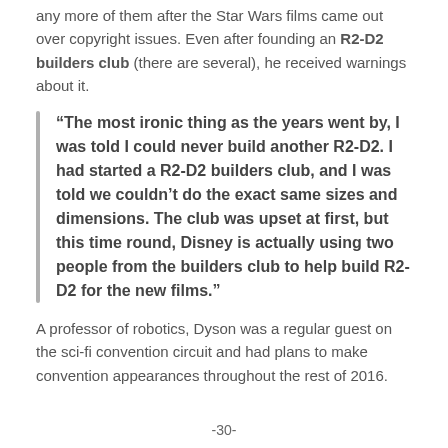any more of them after the Star Wars films came out over copyright issues. Even after founding an R2-D2 builders club (there are several), he received warnings about it.
“The most ironic thing as the years went by, I was told I could never build another R2-D2. I had started a R2-D2 builders club, and I was told we couldn’t do the exact same sizes and dimensions. The club was upset at first, but this time round, Disney is actually using two people from the builders club to help build R2-D2 for the new films.”
A professor of robotics, Dyson was a regular guest on the sci-fi convention circuit and had plans to make convention appearances throughout the rest of 2016.
-30-